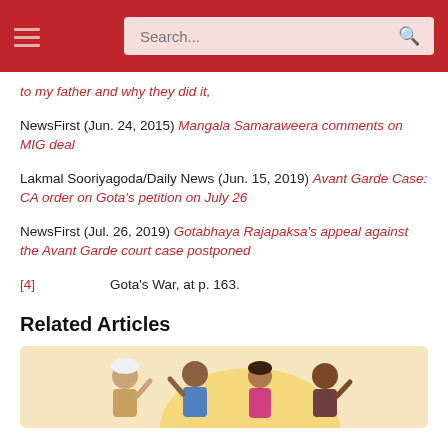Search...
to my father and why they did it,
NewsFirst (Jun. 24, 2015) Mangala Samaraweera comments on MIG deal
Lakmal Sooriyagoda/Daily News (Jun. 15, 2019) Avant Garde Case: CA order on Gota's petition on July 26
NewsFirst (Jul. 26, 2019) Gotabhaya Rajapaksa's appeal against the Avant Garde court case postponed
[4]   Gota's War, at p. 163.
Related Articles
[Figure (illustration): Illustration of a group of people raising hands, with a warm yellow/cream background. Shows four figures including a person in a white cap, a man in blue shirt, a woman, and another person.]